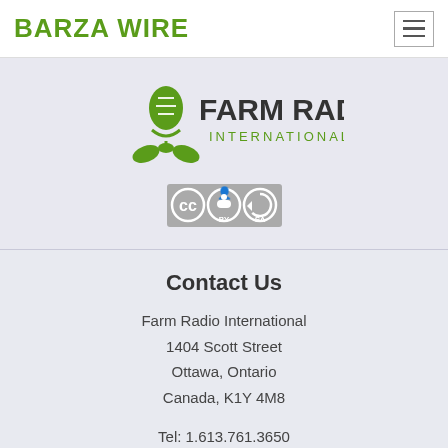BARZA WIRE
[Figure (logo): Farm Radio International logo with microphone icon and green wheat/plant graphic]
[Figure (logo): Creative Commons BY-SA license badge]
Contact Us
Farm Radio International
1404 Scott Street
Ottawa, Ontario
Canada, K1Y 4M8
Tel: 1.613.761.3650
Fax: 1.613.798.0990